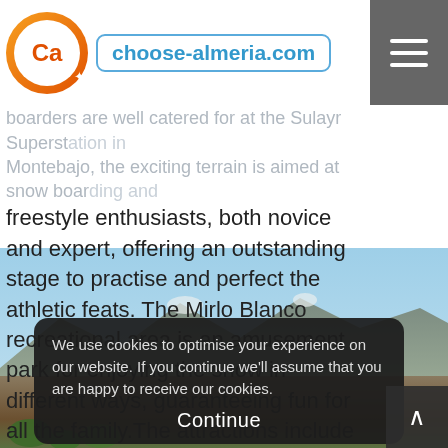choose-almeria.com
es to enjoy the snow and the mountains. boarders are well catered for at the Sulayr Superstation in Montebajo, the exciting terrain is aimed at snow boarding and freestyle enthusiasts, both novice and expert, offering an outstanding stage to practise and perfect the athletic feats. The Mirlo Blanco recreational area is an amusement park for enjoying the snow in different ways, guaranteeing fun for all the family.The attractions include an ecological ice rink, toboggan runs, sleigh rides, sit skiing, skate skiing and ski bobbing...
[Figure (photo): Mountain landscape with blue sky, rocky terrain and vegetation in Almeria, Spain]
We use cookies to optimise your experience on our website. If you continue we'll assume that you are happy to receive our cookies.

Continue